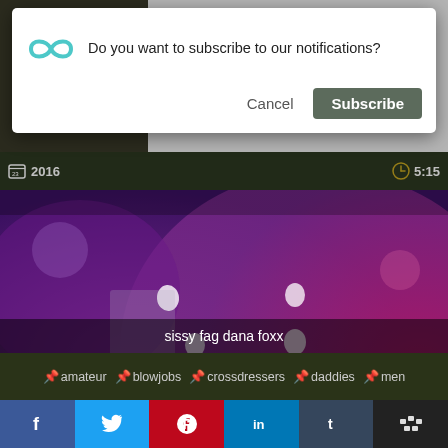[Figure (screenshot): Browser notification permission dialog overlaid on a video website. Dialog shows infinity/loop icon in teal, text 'Do you want to subscribe to our notifications?', Cancel and Subscribe buttons. Below is a video thumbnail of purple/pink bokeh with white droplets, title 'sissy fag dana foxx', tags bar with amateur, blowjobs, crossdressers, daddies, men, and social share bar with Facebook, Twitter, Pinterest, LinkedIn, Tumblr, and share icons.]